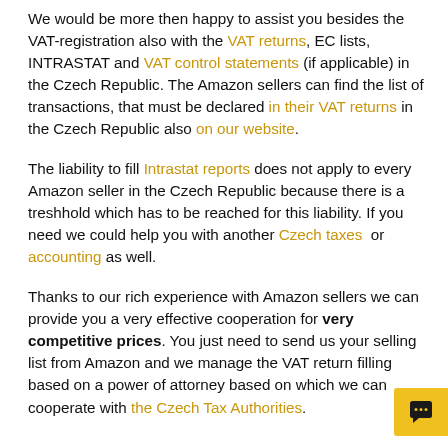We would be more then happy to assist you besides the VAT-registration also with the VAT returns, EC lists, INTRASTAT and VAT control statements (if applicable) in the Czech Republic. The Amazon sellers can find the list of transactions, that must be declared in their VAT returns in the Czech Republic also on our website.
The liability to fill Intrastat reports does not apply to every Amazon seller in the Czech Republic because there is a treshhold which has to be reached for this liability. If you need we could help you with another Czech taxes or accounting as well.
Thanks to our rich experience with Amazon sellers we can provide you a very effective cooperation for very competitive prices. You just need to send us your selling list from Amazon and we manage the VAT return filling based on a power of attorney based on which we can cooperate with the Czech Tax Authorities.